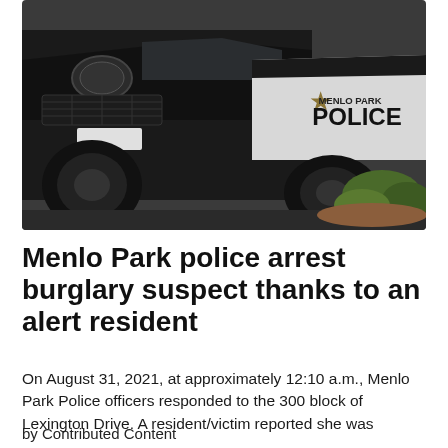[Figure (photo): Menlo Park Police SUV vehicle, black and white in color, showing the front and side with the Menlo Park Police badge and text on the door.]
Menlo Park police arrest burglary suspect thanks to an alert resident
On August 31, 2021, at approximately 12:10 a.m., Menlo Park Police officers responded to the 300 block of Lexington Drive. A resident/victim reported she was
by Contributed Content